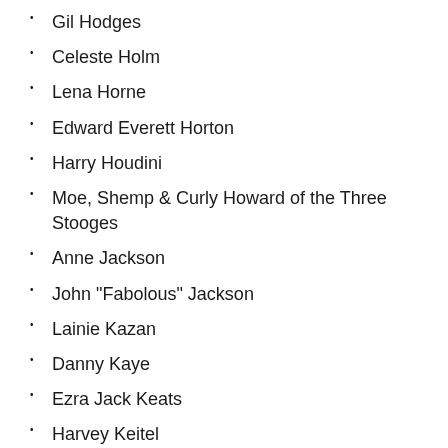Gil Hodges
Celeste Holm
Lena Horne
Edward Everett Horton
Harry Houdini
Moe, Shemp & Curly Howard of the Three Stooges
Anne Jackson
John "Fabolous" Jackson
Lainie Kazan
Danny Kaye
Ezra Jack Keats
Harvey Keitel
Alan King